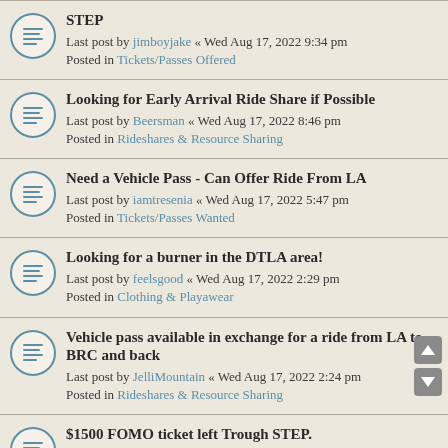STEP
Last post by jimboyjake « Wed Aug 17, 2022 9:34 pm
Posted in Tickets/Passes Offered
Looking for Early Arrival Ride Share if Possible
Last post by Beersman « Wed Aug 17, 2022 8:46 pm
Posted in Rideshares & Resource Sharing
Need a Vehicle Pass - Can Offer Ride From LA
Last post by iamtresenia « Wed Aug 17, 2022 5:47 pm
Posted in Tickets/Passes Wanted
Looking for a burner in the DTLA area!
Last post by feelsgood « Wed Aug 17, 2022 2:29 pm
Posted in Clothing & Playawear
Vehicle pass available in exchange for a ride from LA to BRC and back
Last post by JelliMountain « Wed Aug 17, 2022 2:24 pm
Posted in Rideshares & Resource Sharing
$1500 FOMO ticket left Trough STEP.
Last post by Tiagorol « Wed Aug 17, 2022 2:05 pm